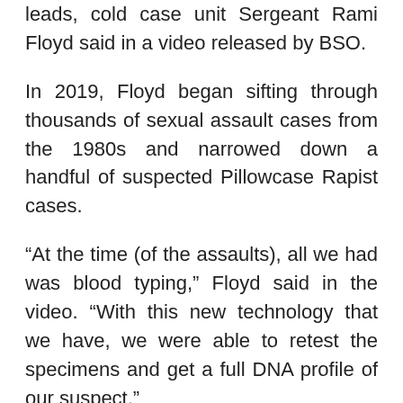leads, cold case unit Sergeant Rami Floyd said in a video released by BSO.
In 2019, Floyd began sifting through thousands of sexual assault cases from the 1980s and narrowed down a handful of suspected Pillowcase Rapist cases.
“At the time (of the assaults), all we had was blood typing,” Floyd said in the video. “With this new technology that we have, we were able to retest the specimens and get a full DNA profile of our suspect.”
After Koehler was arrested in Miami-Dade County, Broward County investigators obtained a new